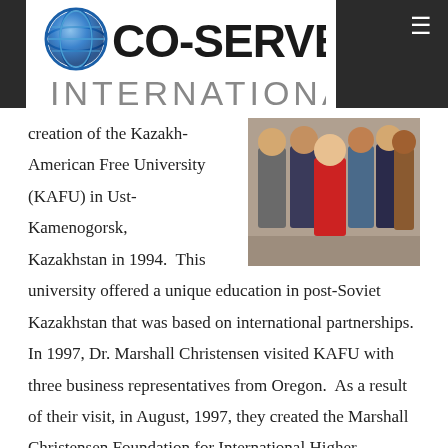[Figure (logo): Co-Serve International logo with globe icon and text]
[Figure (photo): Group photo of several people standing together, including a woman in red dress]
creation of the Kazakh-American Free University (KAFU) in Ust-Kamenogorsk, Kazakhstan in 1994. This university offered a unique education in post-Soviet Kazakhstan that was based on international partnerships. In 1997, Dr. Marshall Christensen visited KAFU with three business representatives from Oregon. As a result of their visit, in August, 1997, they created the Marshall Christensen Foundation for International Higher Education (the MCF). The initial work of the MCF was focused on supporting the